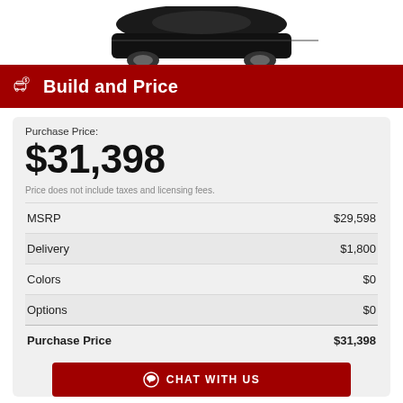[Figure (photo): Partial view of a black car from above/front, cropped at the top of the page]
Build and Price
Purchase Price:
$31,398
Price does not include taxes and licensing fees.
|  |  |
| --- | --- |
| MSRP | $29,598 |
| Delivery | $1,800 |
| Colors | $0 |
| Options | $0 |
| Purchase Price | $31,398 |
CHAT WITH US